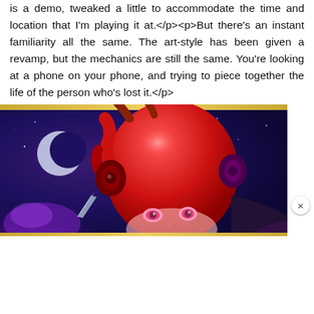is a demo, tweaked a little to accommodate the time and location that I'm playing it at.</p><p>But there's an instant familiarity all the same. The art-style has been given a revamp, but the mechanics are still the same. You're looking at a phone on your phone, and trying to piece together the life of the person who's lost it.</p>
[Figure (illustration): An animated game character with red hair and red helmet/headphones, set against a purple and blue background with a crescent moon. Fantasy/mobile game art style.]